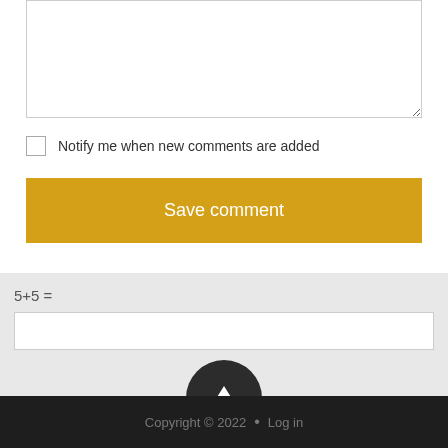[Figure (screenshot): A textarea input field for entering a comment, styled with a thin border]
Notify me when new comments are added
Save comment
5+5 =
[Figure (other): A text input field for entering a math answer]
[Figure (other): Upload button represented as a dark semicircle with an upward arrow]
Copyright © 2022  •  Log in